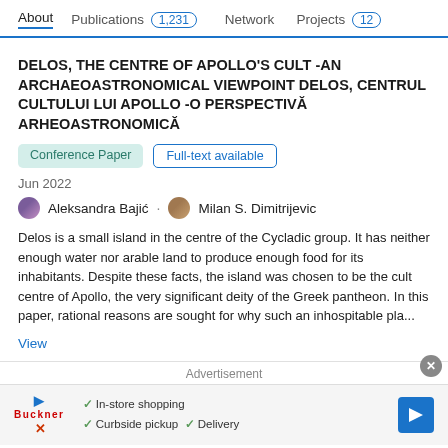About   Publications 1,231   Network   Projects 12
DELOS, THE CENTRE OF APOLLO'S CULT -AN ARCHAEOASTRONOMICAL VIEWPOINT DELOS, CENTRUL CULTULUI LUI APOLLO -O PERSPECTIVĂ ARHEOASTRONOMICĂ
Conference Paper   Full-text available
Jun 2022
Aleksandra Bajić · Milan S. Dimitrijevic
Delos is a small island in the centre of the Cycladic group. It has neither enough water nor arable land to produce enough food for its inhabitants. Despite these facts, the island was chosen to be the cult centre of Apollo, the very significant deity of the Greek pantheon. In this paper, rational reasons are sought for why such an inhospitable pla...
View
Advertisement
In-store shopping   Curbside pickup   Delivery